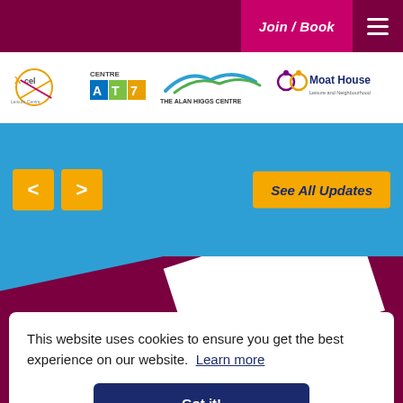Join / Book
[Figure (logo): Logos: Xcel Leisure Centre, Centre AT7, The Alan Higgs Centre, Moat House Leisure and Neighbourhood Centre]
[Figure (infographic): Blue carousel banner with left/right orange navigation arrows and 'See All Updates' yellow button]
This website uses cookies to ensure you get the best experience on our website.  Learn more
Got it!